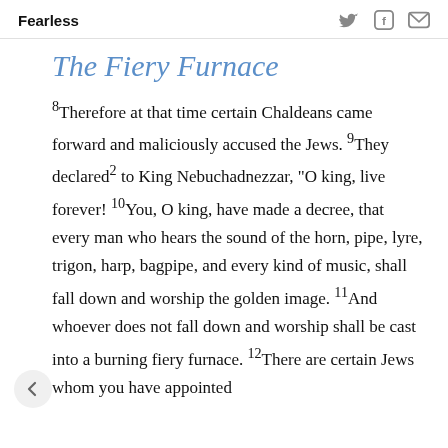Fearless
The Fiery Furnace
8Therefore at that time certain Chaldeans came forward and maliciously accused the Jews. 9They declared2 to King Nebuchadnezzar, “O king, live forever! 10You, O king, have made a decree, that every man who hears the sound of the horn, pipe, lyre, trigon, harp, bagpipe, and every kind of music, shall fall down and worship the golden image. 11And whoever does not fall down and worship shall be cast into a burning fiery furnace. 12There are certain Jews whom you have appointed